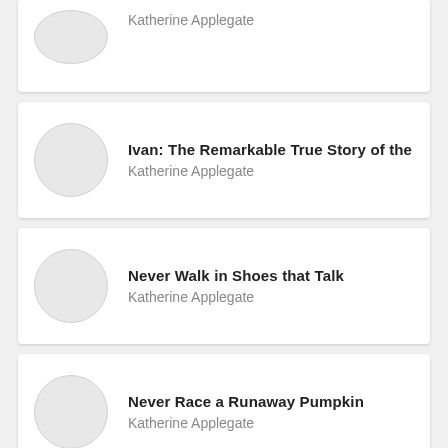Katherine Applegate (truncated top card)
Ivan: The Remarkable True Story of the — Katherine Applegate
Never Walk in Shoes that Talk — Katherine Applegate
Never Race a Runaway Pumpkin — Katherine Applegate
Der einzig wahre Ivan — Katherine Applegate